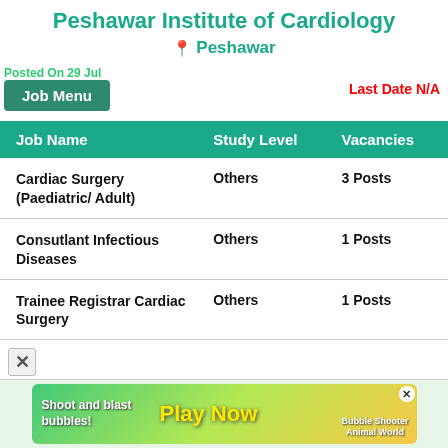Peshawar Institute of Cardiology
📍 Peshawar
Posted On 29 Jul
Last Date N/A
Job Menu
| Job Name | Study Level | Vacancies |
| --- | --- | --- |
| Cardiac Surgery (Paediatric/ Adult) | Others | 3 Posts |
| Consutlant Infectious Diseases | Others | 1 Posts |
| Trainee Registrar Cardiac Surgery | Others | 1 Posts |
[Figure (screenshot): Mobile game advertisement banner showing 'Shoot and blast bubbles! Play Now' with 'Bubble Shooter Animal World' text and colorful game characters]